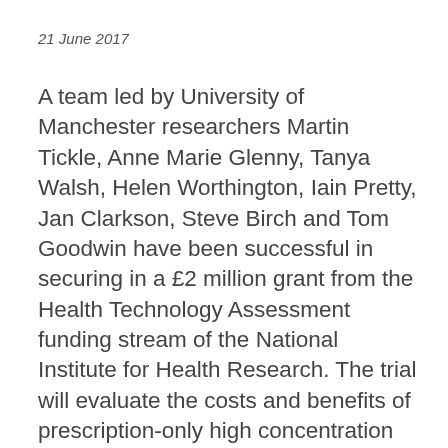21 June 2017
A team led by University of Manchester researchers Martin Tickle, Anne Marie Glenny, Tanya Walsh, Helen Worthington, Iain Pretty, Jan Clarkson, Steve Birch and Tom Goodwin have been successful in securing in a £2 million grant from the Health Technology Assessment funding stream of the National Institute for Health Research. The trial will evaluate the costs and benefits of prescription-only high concentration fluoride toothpaste in